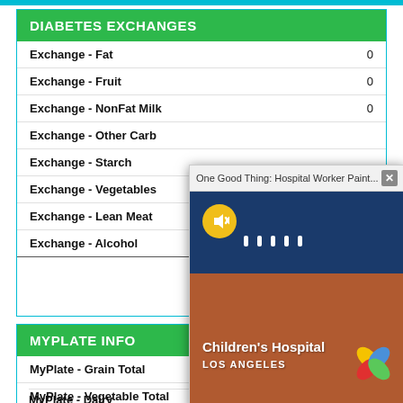DIABETES EXCHANGES
| Item | Value |
| --- | --- |
| Exchange - Fat | 0 |
| Exchange - Fruit | 0 |
| Exchange - NonFat Milk | 0 |
| Exchange - Other Carb |  |
| Exchange - Starch |  |
| Exchange - Vegetables |  |
| Exchange - Lean Meat |  |
| Exchange - Alcohol |  |
[Figure (screenshot): Popup overlay showing video thumbnail: 'One Good Thing: Hospital Worker Paint...' with a mute button, and Children's Hospital Los Angeles sign image with logo]
MYPLATE INFO
| Item | Value |
| --- | --- |
| MyPlate - Grain Total | 0 oz-eq |
| MyPlate - Vegetable Total | 0 c |
| MyPlate - Fruit | 0 c |
| MyPlate - Dairy | 0 c |